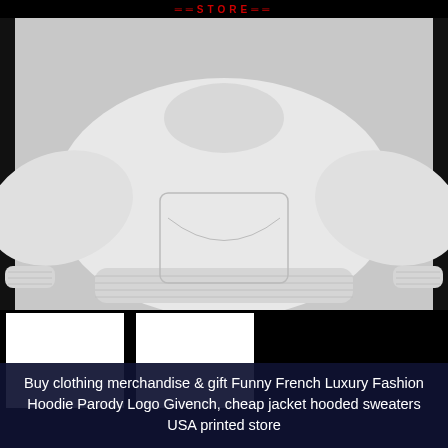STORE
[Figure (photo): Flat lay of a plain white hoodie sweatshirt on a light grey background, showing the front with kangaroo pocket, ribbed cuffs and hem]
[Figure (photo): Two white rectangular thumbnail images on a black background, likely showing front and back views of the hoodie]
Buy clothing merchandise & gift Funny French Luxury Fashion Hoodie Parody Logo Givench, cheap jacket hooded sweaters USA printed store